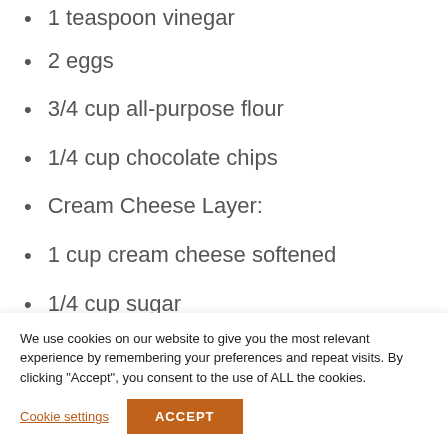1 teaspoon vinegar
2 eggs
3/4 cup all-purpose flour
1/4 cup chocolate chips
Cream Cheese Layer:
1 cup cream cheese softened
1/4 cup sugar
Instructions
1. Preheat the oven to 180 degrees C.
2. Line an 8 by 8 inch baking pan with
We use cookies on our website to give you the most relevant experience by remembering your preferences and repeat visits. By clicking "Accept", you consent to the use of ALL the cookies.